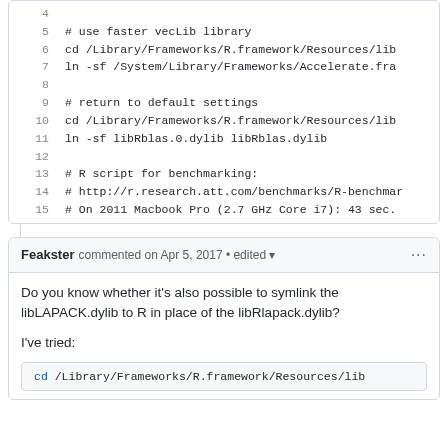[Figure (screenshot): Code block showing shell script lines 4-15 with line numbers, monospace font on white background with border]
Feakster commented on Apr 5, 2017 • edited
Do you know whether it's also possible to symlink the libLAPACK.dylib to R in place of the libRlapack.dylib?
I've tried:
cd /Library/Frameworks/R.framework/Resources/lib